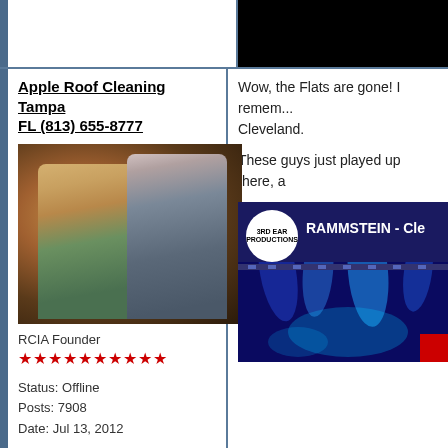[Figure (photo): Dark/black image in top right area]
Apple Roof Cleaning Tampa FL (813) 655-8777
[Figure (photo): Profile photo of two people, a blonde woman and a man with short gray hair]
RCIA Founder
★★★★★★★★★★
Status: Offline
Posts: 7908
Date: Jul 13, 2012
Wow, the Flats are gone! I remem... Cleveland.
These guys just played up there, a
[Figure (screenshot): Video thumbnail showing RAMMSTEIN - Cle... with 3rd Ear Productions logo, blue stage lighting]